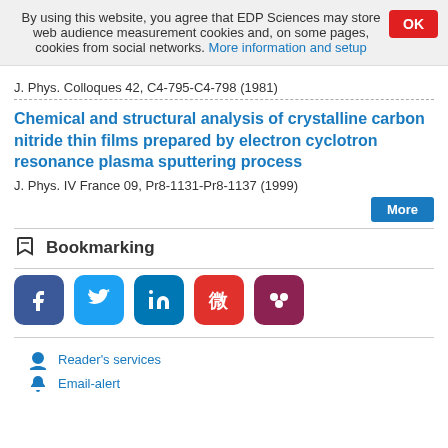By using this website, you agree that EDP Sciences may store web audience measurement cookies and, on some pages, cookies from social networks. More information and setup
J. Phys. Colloques 42, C4-795-C4-798 (1981)
Chemical and structural analysis of crystalline carbon nitride thin films prepared by electron cyclotron resonance plasma sputtering process
J. Phys. IV France 09, Pr8-1131-Pr8-1137 (1999)
Bookmarking
[Figure (other): Social sharing icons: Facebook, Twitter, LinkedIn, Weibo, Mendeley]
Reader's services
Email-alert